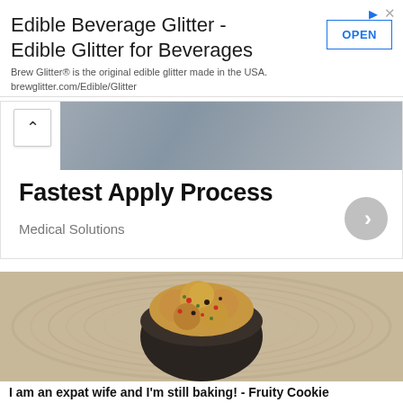[Figure (screenshot): Advertisement banner for Edible Beverage Glitter with OPEN button. Title: 'Edible Beverage Glitter - Edible Glitter for Beverages'. Description: 'Brew Glitter® is the original edible glitter made in the USA. brewglitter.com/Edible/Glitter']
[Figure (screenshot): Card carousel showing 'Fastest Apply Process' with subtitle 'Medical Solutions', a chevron right button, and a blurred image strip at top with an up-arrow navigation button.]
[Figure (photo): Photo of fruity cookies in a dark bowl on a wooden plate with circular grain pattern.]
I am an expat wife and I'm still baking! - Fruity Cookie